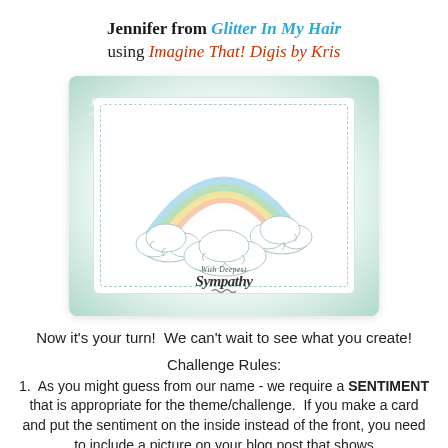Jennifer from Glitter In My Hair using Imagine That! Digis by Kris
[Figure (photo): A handmade sympathy card featuring a rainbow with pastel colors over fluffy clouds, with text 'With Deepest Sympathy' in calligraphy. Watermark reads 'Jennifer Greco' and 'www.imaginethatdigistamp.com'. Card displayed on a pale mint green background.]
Now it's your turn!  We can't wait to see what you create!
Challenge Rules:
1.  As you might guess from our name - we require a SENTIMENT that is appropriate for the theme/challenge.  If you make a card and put the sentiment on the inside instead of the front, you need to include a picture on your blog post that shows